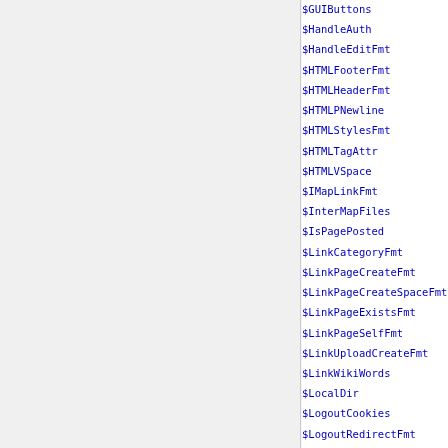| Variable | Section |
| --- | --- |
| $GUIButtons | EditVariables |
| $HandleAuth | SecurityVariables |
| $HandleEditFmt | EditVariables |
| $HTMLFooterFmt | LayoutVariables |
| $HTMLHeaderFmt | LayoutVariables |
| $HTMLPNewline | LayoutVariables |
| $HTMLStylesFmt | LayoutVariables |
| $HTMLTagAttr | LayoutVariables |
| $HTMLVSpace | LayoutVariables |
| $IMapLinkFmt | LinkVariables |
| $InterMapFiles | LinkVariables |
| $IsPagePosted | EditVariables |
| $LinkCategoryFmt | LinkVariables |
| $LinkPageCreateFmt | LinkVariables |
| $LinkPageCreateSpaceFmt | LinkVariables |
| $LinkPageExistsFmt | LinkVariables |
| $LinkPageSelfFmt | LinkVariables |
| $LinkUploadCreateFmt | UploadVariables |
| $LinkWikiWords | BasicVariables |
| $LocalDir | PathVariables |
| $LogoutCookies | BasicVariables |
| $LogoutRedirectFmt | BasicVariables |